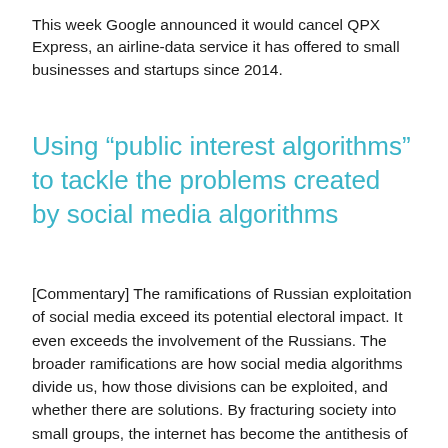This week Google announced it would cancel QPX Express, an airline-data service it has offered to small businesses and startups since 2014.
Using “public interest algorithms” to tackle the problems created by social media algorithms
[Commentary] The ramifications of Russian exploitation of social media exceed its potential electoral impact. It even exceeds the involvement of the Russians. The broader ramifications are how social media algorithms divide us, how those divisions can be exploited, and whether there are solutions. By fracturing society into small groups, the internet has become the antithesis of the community necessary for democratic processes to succeed. This is bigger than the current discussion of political advertising on the internet...